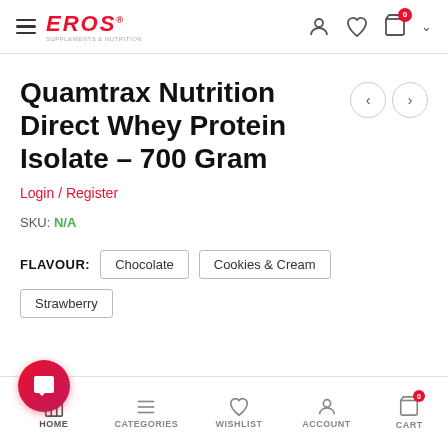EROS Supplements & Nutrition
Quamtrax Nutrition Direct Whey Protein Isolate – 700 Gram
Login / Register
SKU: N/A
FLAVOUR: Chocolate  Cookies & Cream  Strawberry
HOME  CATEGORIES  WISHLIST  ACCOUNT  CART